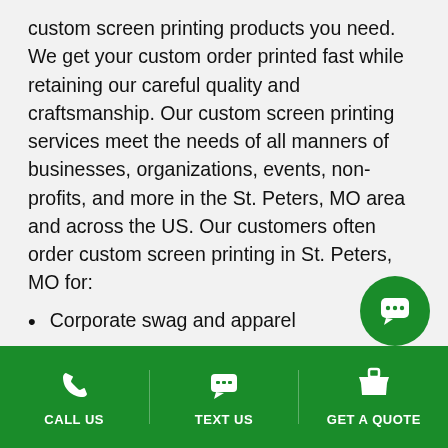custom screen printing products you need. We get your custom order printed fast while retaining our careful quality and craftsmanship. Our custom screen printing services meet the needs of all manners of businesses, organizations, events, non-profits, and more in the St. Peters, MO area and across the US. Our customers often order custom screen printing in St. Peters, MO for:
Corporate swag and apparel
Employee uniforms
Conferences. trade shows, and corporate events
Sports teams
Sport event spirit-wear
Races such as 5k's, half marathons, and marathons
[Figure (illustration): Green circular chat/messaging button with white speech bubble icon]
CALL US   TEXT US   GET A QUOTE